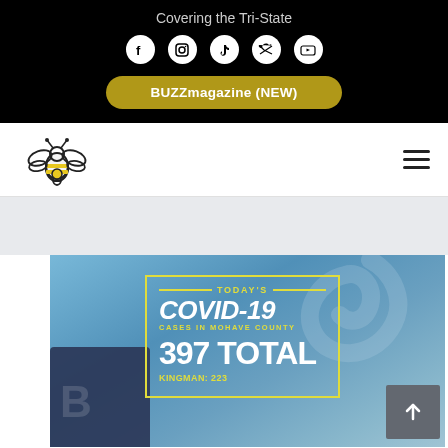Covering the Tri-State
[Figure (screenshot): Website header with social media icons (Facebook, Instagram, TikTok, Twitter, YouTube) displayed as circular white icons on black background]
BUZZmagazine (NEW)
[Figure (logo): Bee logo / mascot icon for the news website]
[Figure (photo): COVID-19 cases infographic overlay on a blue-toned photo background showing: TODAY'S COVID-19 CASES IN MOHAVE COUNTY 397 TOTAL KINGMAN: 223]
TODAY'S COVID-19 CASES IN MOHAVE COUNTY 397 TOTAL KINGMAN: 223